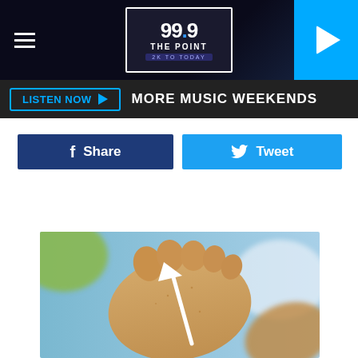99.9 THE POINT — 2K TO TODAY
LISTEN NOW ▶  MORE MUSIC WEEKENDS
Share
Tweet
[Figure (photo): Close-up photo of sandy feet/toes at a beach with a white arrow pointing at the foot, blurred background with blue and green tones]